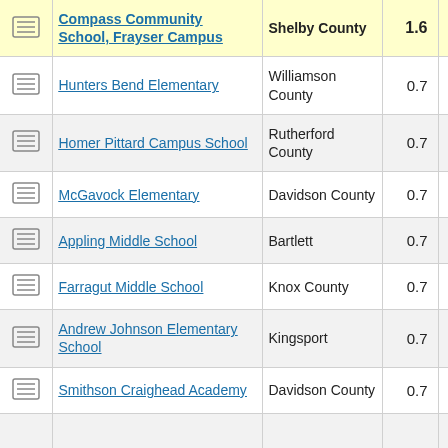|  | School | District | Score |  |
| --- | --- | --- | --- | --- |
| [icon] | Compass Community School, Frayser Campus | Shelby County | 1.6 |  |
| [icon] | Hunters Bend Elementary | Williamson County | 0.7 |  |
| [icon] | Homer Pittard Campus School | Rutherford County | 0.7 |  |
| [icon] | McGavock Elementary | Davidson County | 0.7 |  |
| [icon] | Appling Middle School | Bartlett | 0.7 |  |
| [icon] | Farragut Middle School | Knox County | 0.7 |  |
| [icon] | Andrew Johnson Elementary School | Kingsport | 0.7 |  |
| [icon] | Smithson Craighead Academy | Davidson County | 0.7 |  |
| [icon] |  |  |  |  |